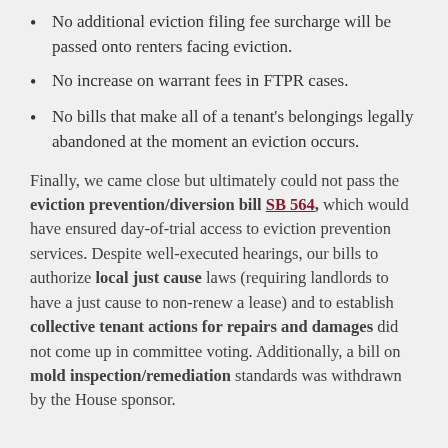No additional eviction filing fee surcharge will be passed onto renters facing eviction.
No increase on warrant fees in FTPR cases.
No bills that make all of a tenant's belongings legally abandoned at the moment an eviction occurs.
Finally, we came close but ultimately could not pass the eviction prevention/diversion bill SB 564, which would have ensured day-of-trial access to eviction prevention services. Despite well-executed hearings, our bills to authorize local just cause laws (requiring landlords to have a just cause to non-renew a lease) and to establish collective tenant actions for repairs and damages did not come up in committee voting. Additionally, a bill on mold inspection/remediation standards was withdrawn by the House sponsor.